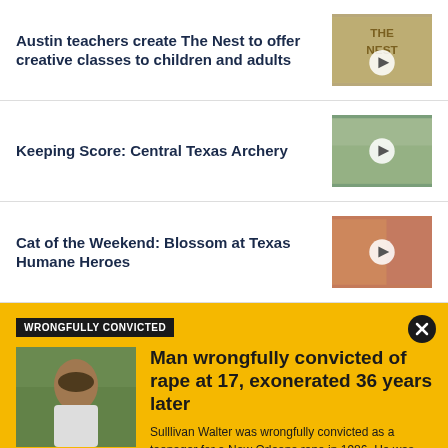Austin teachers create The Nest to offer creative classes to children and adults
Keeping Score: Central Texas Archery
Cat of the Weekend: Blossom at Texas Humane Heroes
WRONGFULLY CONVICTED
Man wrongfully convicted of rape at 17, exonerated 36 years later
Sulllivan Walter was wrongfully convicted as a teenager for a New Orleans rape in 1986. He was ordered freed after a judge threw out his conviction.